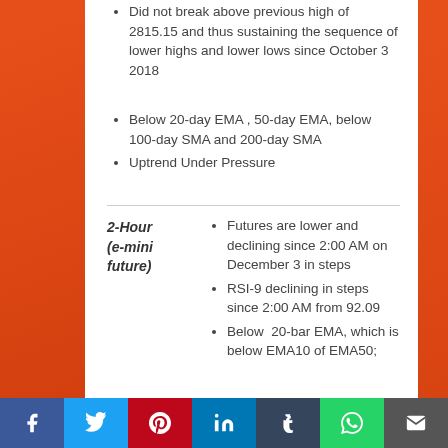Did not break above previous high of 2815.15 and thus sustaining the sequence of lower highs and lower lows since October 3 2018
Below 20-day EMA , 50-day EMA, below 100-day SMA and 200-day SMA
Uptrend Under Pressure
Futures are lower and declining since 2:00 AM on December 3 in steps
RSI-9 declining in steps since 2:00 AM from 92.09
Below  20-bar EMA, which is below EMA10 of EMA50;